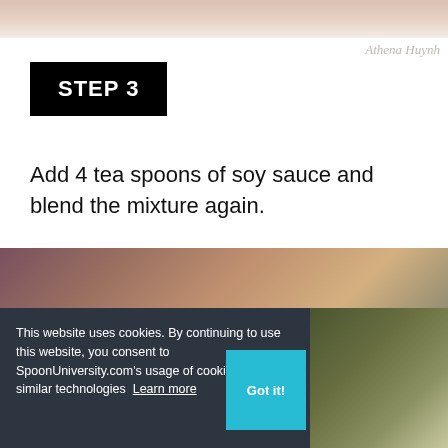[Figure (photo): Top photo strip showing a plate or dish, partial view]
Athena Huynh
STEP 3
Add 4 tea spoons of soy sauce and blend the mixture again.
[Figure (photo): Middle photo showing cooking scene with blurred background]
[Figure (infographic): Advertisement banner: HC logo (yellow), text 'View store hours, get directions, or call your salon!', blue diamond arrow icon]
This website uses cookies. By continuing to use this website, you consent to SpoonUniversity.com's usage of cookies and similar technologies Learn more
[Figure (photo): Bottom right photo showing food with green garnish]